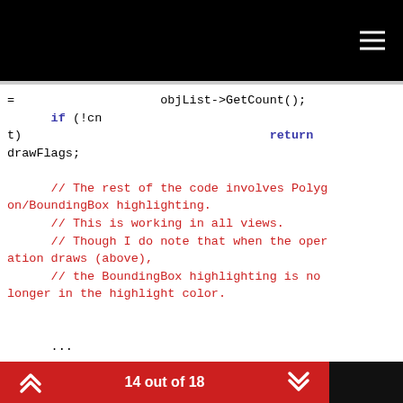MAXON PLUGINCAFE
= objList->GetCount();
        if (!cnt)                                  return drawFlags;

        // The rest of the code involves Polygon/BoundingBox highlighting.
        // This is working in all views.
        // Though I do note that when the operation draws (above),
        // the BoundingBox highlighting is no longer in the highlight color.


        ...


        // So, I've included just a section where a bounding box is highlighted
14 out of 18